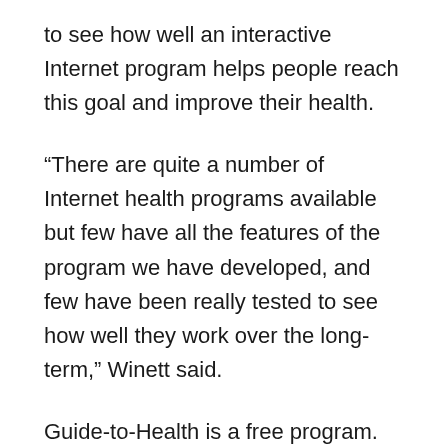to see how well an interactive Internet program helps people reach this goal and improve their health.
“There are quite a number of Internet health programs available but few have all the features of the program we have developed, and few have been really tested to see how well they work over the long-term,” Winett said.
Guide-to-Health is a free program. However, participants must be 18 to 63 years of age, not physically active, with a body mass index